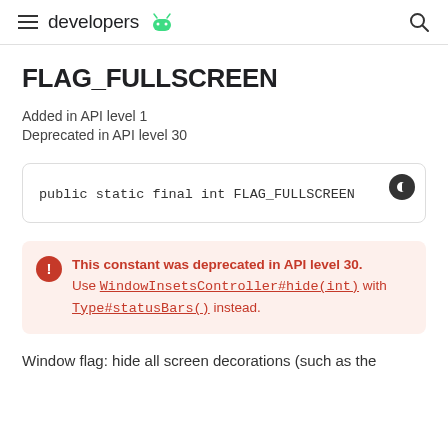developers
FLAG_FULLSCREEN
Added in API level 1
Deprecated in API level 30
public static final int FLAG_FULLSCREEN
This constant was deprecated in API level 30. Use WindowInsetsController#hide(int) with Type#statusBars() instead.
Window flag: hide all screen decorations (such as the